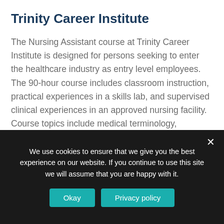Trinity Career Institute
The Nursing Assistant course at Trinity Career Institute is designed for persons seeking to enter the healthcare industry as entry level employees. The 90-hour course includes classroom instruction, practical experiences in a skills lab, and supervised clinical experiences in an approved nursing facility. Course topics include medical terminology, anatomy, and physiology, laws and ethics, patient care, patient transfers, feeding and nutrition, communication skills, roles and responsibility of the nursing assistant, basic nursing skills, mental health concepts, and end of life care. Applicants must pass an
We use cookies to ensure that we give you the best experience on our website. If you continue to use this site we will assume that you are happy with it.